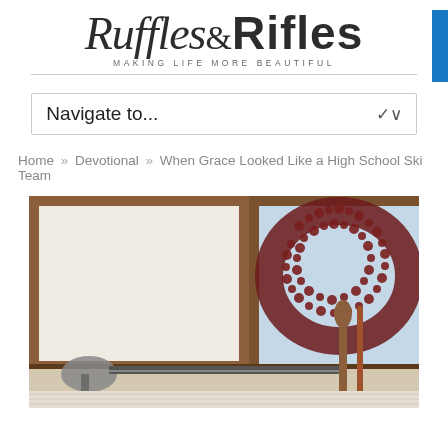Ruffles & Rifles — Making Life More Beautiful
Navigate to...
Home » Devotional » When Grace Looked Like a High School Ski Team
[Figure (photo): Interior kitchen scene showing a wooden-framed window with a decorative red berry wreath and kitchen utensils in the foreground]